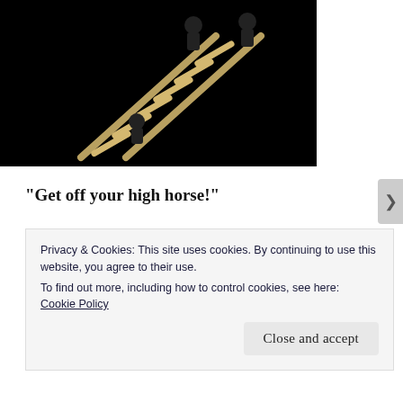[Figure (illustration): Cartoon illustration showing figures on a ladder against a black background]
“Get off your high horse!”
This line was used on me on a dating website a few months ago, so I feel the need to address it.  In dating, as in all things in life, we all have expectations and hopes.  We all have things we look for, things we want in our lives, and things we know we don’t.  The fact of
Privacy & Cookies: This site uses cookies. By continuing to use this website, you agree to their use.
To find out more, including how to control cookies, see here:
Cookie Policy

Close and accept